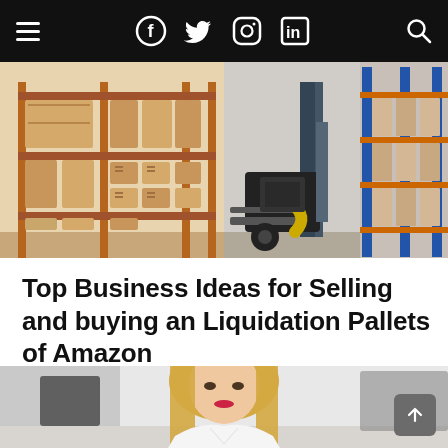Navigation bar with hamburger menu, social media icons (Facebook, Twitter, Instagram, LinkedIn), and search icon
[Figure (photo): Warehouse shelves stocked with cardboard boxes on the left side; industrial forklift in a warehouse with blue metal shelving on the right side]
Top Business Ideas for Selling and buying an Liquidation Pallets of Amazon
[Figure (photo): Blonde woman in a white shirt sitting at a desk, working in an office environment, out of focus background]